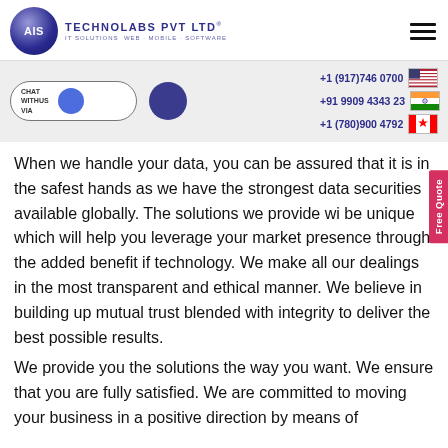[Figure (logo): AIS Technolabs Pvt Ltd logo with blue circle and company name]
[Figure (other): Hamburger menu icon (three horizontal lines)]
[Figure (other): Chat With Us widget with toggle button and large blue dot]
+1 (917)746 0700
+91 9909 4343 23
+1 (780)900 4792
When we handle your data, you can be assured that it is in the safest hands as we have the strongest data securities available globally. The solutions we provide wi be unique which will help you leverage your market presence through the added benefit if technology. We make all our dealings in the most transparent and ethical manner. We believe in building up mutual trust blended with integrity to deliver the best possible results.
We provide you the solutions the way you want. We ensure that you are fully satisfied. We are committed to moving your business in a positive direction by means of